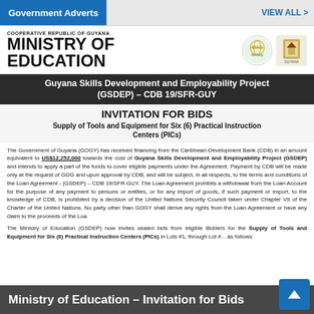Government Adverts | VIEW ALL >
COOPERATIVE REPUBLIC OF GUYANA
MINISTRY OF
EDUCATION
Guyana Skills Development and Employability Project (GSDEP) – CDB 19/SFR-GUY
INVITATION FOR BIDS
Supply of Tools and Equipment for Six (6) Practical Instruction Centers (PICs)
The Government of Guyana (GOGY) has received financing from the Caribbean Development Bank (CDB) in an amount equivalent to US$12,252,000 towards the cost of Guyana Skills Development and Employability Project (GSDEP) and intends to apply a part of the funds to cover eligible payments under the Agreement. Payment by CDB will be made only at the request of GOG and upon approval by CDB, and will be subject, in all respects, to the terms and conditions of the Loan Agreement - (GSDEP) – CDB 19/SFR-GUY. The Loan Agreement prohibits a withdrawal from the Loan Account for the purpose of any payment to persons or entities, or for any import of goods, if such payment or import, to the knowledge of CDB, is prohibited by a decision of the United Nations Security Council taken under Chapter VII of the Charter of the United Nations. No party other than GOGY shall derive any rights from the Loan Agreement or have any claim to the proceeds of the Loa...
The Ministry of Education (GSDEP) now invites sealed bids from eligible Bidders for the Supply of Tools and Equipment for Six (6) Practical Instruction Centers (PICs) in Lots #1, through Lot #... as follows:
Ministry of Education – Invitation for Bids